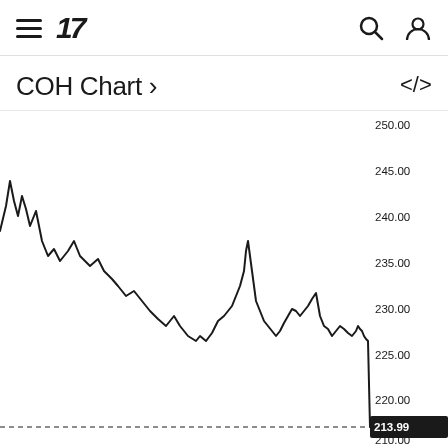TradingView navigation bar with hamburger menu, TV logo, search icon, and user icon
COH Chart ›
[Figure (continuous-plot): COH (Coach Inc.) stock price line chart showing price movements ranging approximately from 205 to 250, with current price highlighted at 213.99. A horizontal dashed line marks the 213.99 price level. Y-axis labels visible: 250.00, 245.00, 240.00, 235.00, 230.00, 225.00, 220.00, 215.99, 213.99, 210.00, 205.00.]